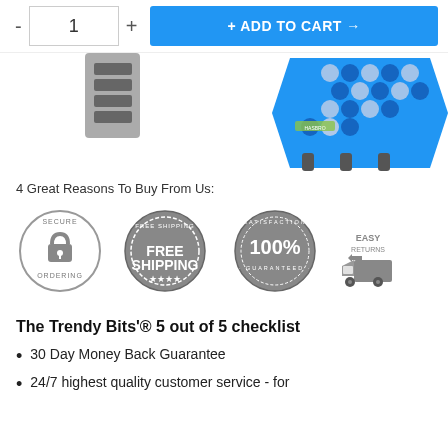[Figure (screenshot): Add to cart bar with quantity selector showing '1', minus and plus buttons, and a blue '+ ADD TO CART →' button]
[Figure (photo): Partial product photo showing a board game (ice block stacking game) with blue hexagonal platform and game pieces]
4 Great Reasons To Buy From Us:
[Figure (infographic): Four trust badges in a row: Secure Ordering (padlock circle), Free Shipping (stamp style), Satisfaction 100% Guaranteed (circle badge), Easy Returns (truck icon)]
The Trendy Bits'® 5 out of 5 checklist
30 Day Money Back Guarantee
24/7 highest quality customer service - for